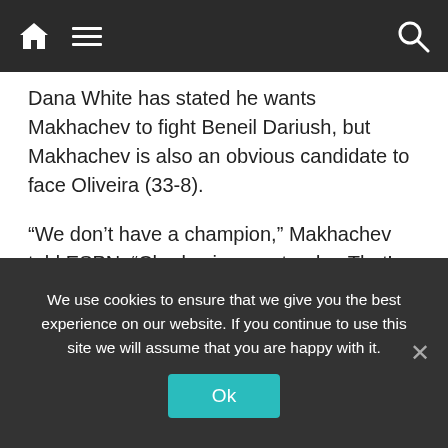Navigation bar with home, menu, and search icons
Dana White has stated he wants Makhachev to fight Beneil Dariush, but Makhachev is also an obvious candidate to face Oliveira (33-8).
“We don’t have a champion,” Makhachev told ESPN. “Charles is a contender. That’s why it’s going to be for the title. I deserve it. I have a 10-fight win streak.”
Oliveira, of Brazil, is widely viewed as the defending champion — even though, officially, he is not. The 32-year-old missed weight by one half-pound ahead of a scheduled defense against Justin Gaethje at UFC 274 on May 7 in Phoenix. Oliveira went on to submit
We use cookies to ensure that we give you the best experience on our website. If you continue to use this site we will assume that you are happy with it.